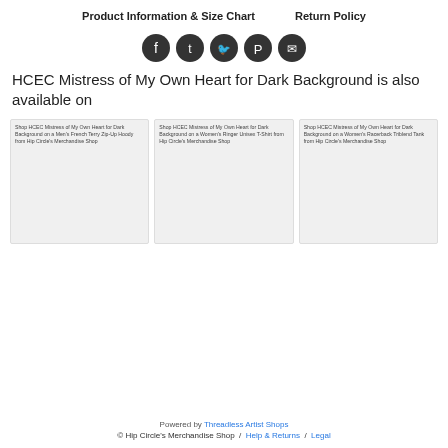Product Information & Size Chart    Return Policy
[Figure (infographic): Row of 5 social media icons (Facebook, Tumblr, Twitter, Pinterest, Email) as dark circular buttons]
HCEC Mistress of My Own Heart for Dark Background is also available on
[Figure (screenshot): Product card: Shop HCEC Mistress of My Own Heart for Dark Background on a Men's French Terry Zip-Up Hoody from Hip Circle's Merchandise Shop]
[Figure (screenshot): Product card: Shop HCEC Mistress of My Own Heart for Dark Background on a Women's Ringer Unisex T-Shirt from Hip Circle's Merchandise Shop]
[Figure (screenshot): Product card: Shop HCEC Mistress of My Own Heart for Dark Background on a Women's Racerback Triblend Tank from Hip Circle's Merchandise Shop]
Powered by Threadless Artist Shops © Hip Circle's Merchandise Shop / Help & Returns / Legal